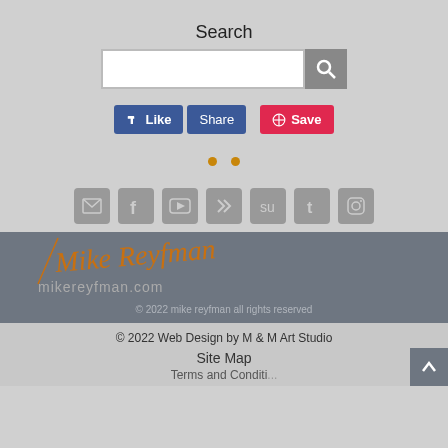Search
[Figure (screenshot): Search input field with magnifying glass button]
[Figure (screenshot): Facebook Like and Share buttons, and Pinterest Save button]
[Figure (screenshot): Two orange navigation dots]
[Figure (screenshot): Social media icon row: email, Facebook, YouTube, Kaboodle, StumbleUpon, Tumblr, Instagram]
[Figure (logo): Mike Reyfman signature logo with mikereyfman.com URL]
© 2022  mike reyfman  all rights reserved
© 2022 Web Design by M & M Art Studio
Site Map
Terms and Conditions